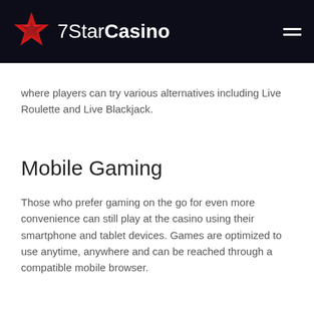7StarCasino
where players can try various alternatives including Live Roulette and Live Blackjack.
Mobile Gaming
Those who prefer gaming on the go for even more convenience can still play at the casino using their smartphone and tablet devices. Games are optimized to use anytime, anywhere and can be reached through a compatible mobile browser.
Support
Anyone who needs help and assistance at the casino can speak to their friendly customer support agents. The fastest way to get answers is by using